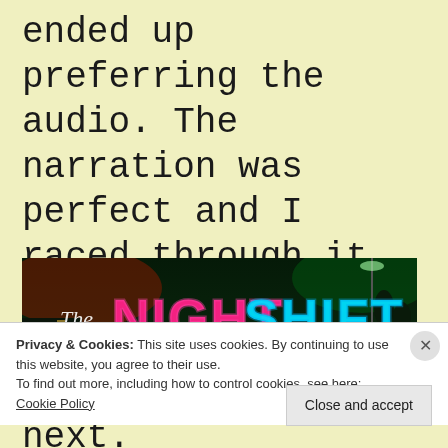ended up preferring the audio. The narration was perfect and I raced through it in 24 hrs. I can't wait to see what this author does next.
[Figure (photo): Advertisement banner for 'The Night Shift' — dark neon-lit street scene with pink and cyan neon text reading 'The NIGHT SHIFT' and tagline 'It might just be the death of you.']
Privacy & Cookies: This site uses cookies. By continuing to use this website, you agree to their use.
To find out more, including how to control cookies, see here: Cookie Policy
Close and accept